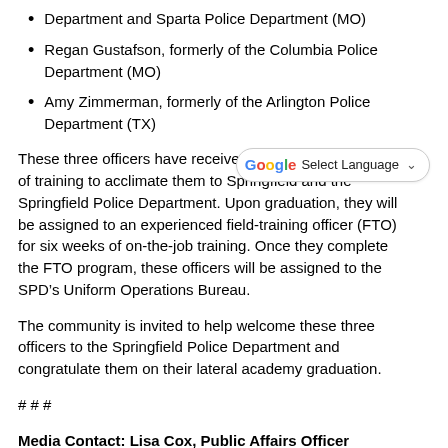Department and Sparta Police Department (MO)
Regan Gustafson, formerly of the Columbia Police Department (MO)
Amy Zimmerman, formerly of the Arlington Police Department (TX)
These three officers have received five [weeks] of training to acclimate them to Springfield and the Springfield Police Department. Upon graduation, they will be assigned to an experienced field-training officer (FTO) for six weeks of on-the-job training. Once they complete the FTO program, these officers will be assigned to the SPD’s Uniform Operations Bureau.
The community is invited to help welcome these three officers to the Springfield Police Department and congratulate them on their lateral academy graduation.
# # #
Media Contact: Lisa Cox, Public Affairs Officer
417-864-1786
LCox@springfieldmo.gov